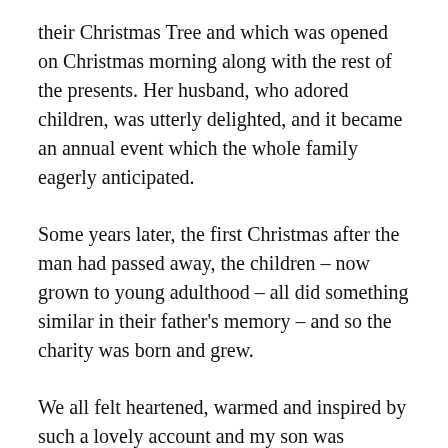their Christmas Tree and which was opened on Christmas morning along with the rest of the presents. Her husband, who adored children, was utterly delighted, and it became an annual event which the whole family eagerly anticipated.
Some years later, the first Christmas after the man had passed away, the children – now grown to young adulthood – all did something similar in their father's memory – and so the charity was born and grew.
We all felt heartened, warmed and inspired by such a lovely account and my son was obviously well pleased that he had found a little story which so richly illustrated one aspect of the true meaning of Christmas.